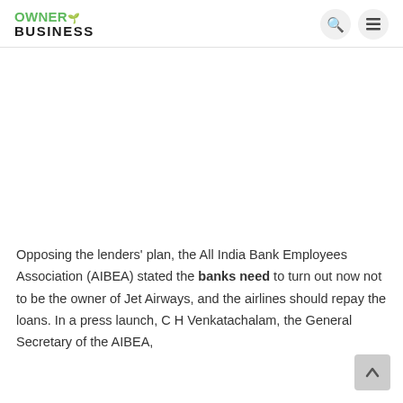OWNER BUSINESS
[Figure (other): Advertisement or image placeholder area (blank white space)]
Opposing the lenders' plan, the All India Bank Employees Association (AIBEA) stated the banks need to turn out now not to be the owner of Jet Airways, and the airlines should repay the loans. In a press launch, C H Venkatachalam, the General Secretary of the AIBEA,